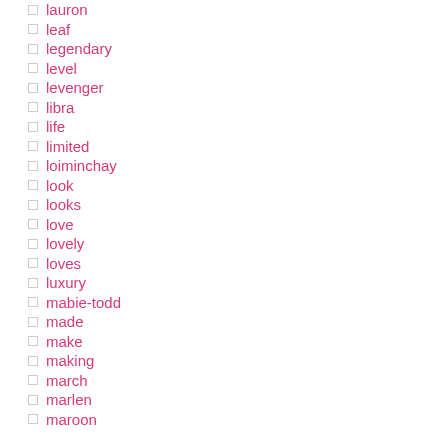lauron
leaf
legendary
level
levenger
libra
life
limited
loiminchay
look
looks
love
lovely
loves
luxury
mabie-todd
made
make
making
march
marlen
maroon